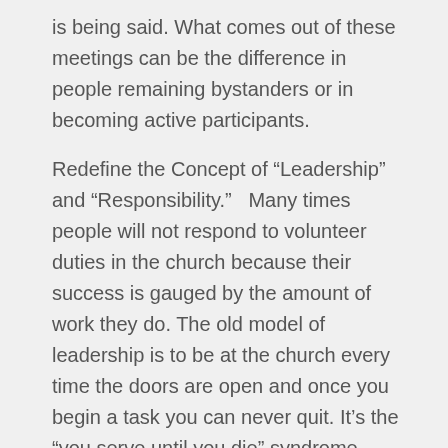is being said.  What comes out of these meetings can be the difference in people remaining bystanders or in becoming active participants.
Redefine the Concept of “Leadership” and “Responsibility.”   Many times people will not respond to volunteer duties in the church because their success is gauged by the amount of work they do.  The old model of leadership is to be at the church every time the doors are open and once you begin a task you can never quit.  It’s the “you serve until you die” syndrome.  First, people must be motivated internally. This is the work of the Holy Spirit.  They have to have an internal want to, God has to first do a work in